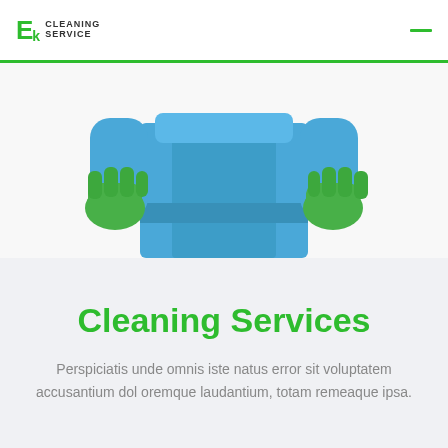EK Cleaning Service
[Figure (photo): A person wearing green rubber gloves and a blue apron holding a cleaning cloth, photographed from the torso up against a light background.]
Cleaning Services
Perspiciatis unde omnis iste natus error sit voluptatem accusantium dol oremque laudantium, totam remeaque ipsa.